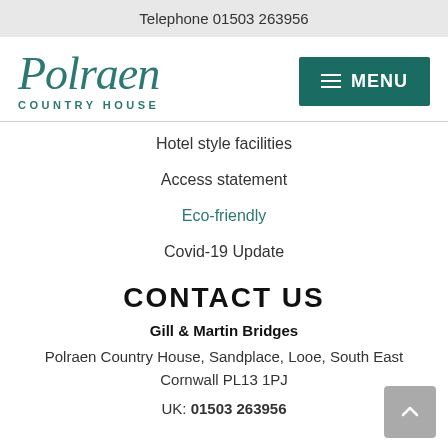Telephone 01503 263956
[Figure (logo): Polraen Country House logo in teal italic script with COUNTRY HOUSE in small caps beneath]
MENU
Hotel style facilities
Access statement
Eco-friendly
Covid-19 Update
CONTACT US
Gill & Martin Bridges
Polraen Country House, Sandplace, Looe, South East Cornwall PL13 1PJ
UK: 01503 263956